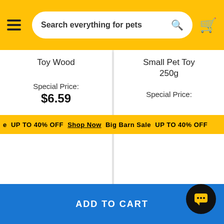Search everything for pets
Toy Wood
Special Price:
$6.59
Small Pet Toy 250g
Special Price:
20% off
UP TO 40% OFF  Shop Now  Big Barn Sale  UP TO 40% OFF
Sale
★ ★ ★ ★ ★ (1)
ADD TO CART